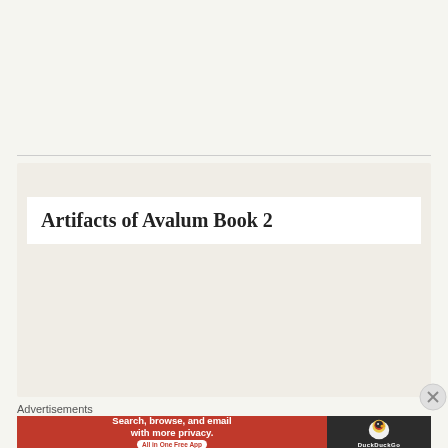[Figure (illustration): Book cover artwork showing a fantasy scene with a figure, warm brown and orange tones, with the author name J.E. HUNTER displayed in large serif letters across the middle]
Artifacts of Avalum Book 2
Advertisements
[Figure (other): DuckDuckGo advertisement banner: orange left panel reading 'Search, browse, and email with more privacy. All in One Free App' and dark right panel with DuckDuckGo duck logo]